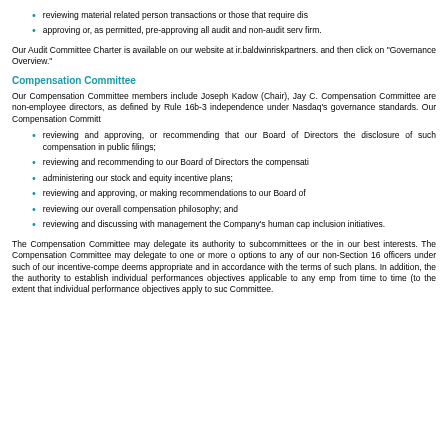reviewing material related person transactions or those that require dis
approving or, as permitted, pre-approving all audit and non-audit serv firm.
Our Audit Committee Charter is available on our website at ir.baldwinriskpartners. and then click on "Governance Overview."
Compensation Committee
Our Compensation Committee members include Joseph Kadow (Chair), Jay C. Compensation Committee are non-employee directors, as defined by Rule 16b-3 independence under Nasdaq's governance standards. Our Compensation Committ
reviewing and approving, or recommending that our Board of Directors the disclosure of such compensation in public filings;
reviewing and recommending to our Board of Directors the compensati
administering our stock and equity incentive plans;
reviewing and approving, or making recommendations to our Board of
reviewing our overall compensation philosophy; and
reviewing and discussing with management the Company's human cap inclusion initiatives.
The Compensation Committee may delegate its authority to subcommittees or the in our best interests. The Compensation Committee may delegate to one or more o options to any of our non-Section 16 officers under such of our incentive-compe deems appropriate and in accordance with the terms of such plans. In addition, the the authority to establish individual performances objectives applicable to any emp from time to time (to the extent that individual performance objectives apply to suc Committee.